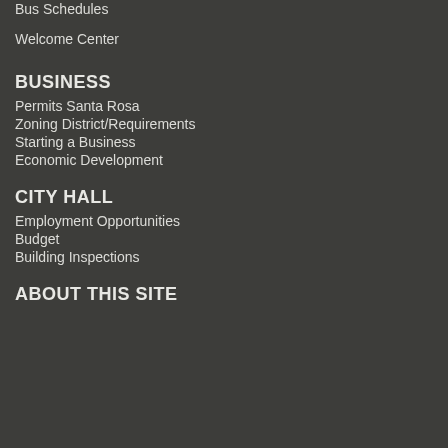Bus Schedules
Welcome Center
BUSINESS
Permits Santa Rosa
Zoning District/Requirements
Starting a Business
Economic Development
CITY HALL
Employment Opportunities
Budget
Building Inspections
ABOUT THIS SITE